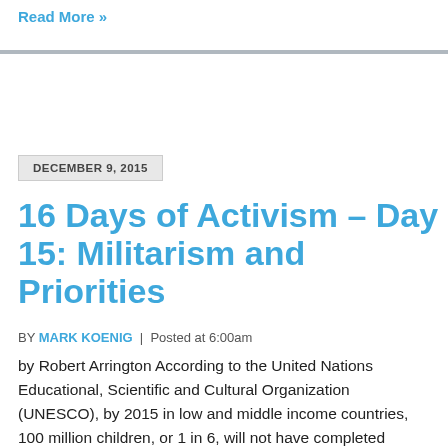Read More »
DECEMBER 9, 2015
16 Days of Activism – Day 15: Militarism and Priorities
BY MARK KOENIG | Posted at 6:00am
by Robert Arrington According to the United Nations Educational, Scientific and Cultural Organization (UNESCO), by 2015 in low and middle income countries, 100 million children, or 1 in 6, will not have completed primary school. Furthermore, UNICEF reports that half of children who are out-of-school are from countries that have been affected by conflict,